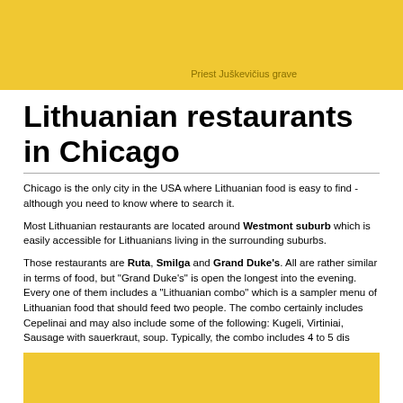[Figure (photo): Yellow/golden background image placeholder at top of page]
Priest Juškevičius grave
Lithuanian restaurants in Chicago
Chicago is the only city in the USA where Lithuanian food is easy to find - although you need to know where to search it.
Most Lithuanian restaurants are located around Westmont suburb which is easily accessible for Lithuanians living in the surrounding suburbs.
Those restaurants are Ruta, Smilga and Grand Duke's. All are rather similar in terms of food, but "Grand Duke's" is open the longest into the evening. Every one of them includes a "Lithuanian combo" which is a sampler menu of Lithuanian food that should feed two people. The combo certainly includes Cepelinai and may also include some of the following: Kugelis, Balandėliai, Virtiniai, Sausage with sauerkraut, soup. Typically, the combo includes 4 to 5 dis
[Figure (photo): Yellow/golden background image placeholder at bottom of page]